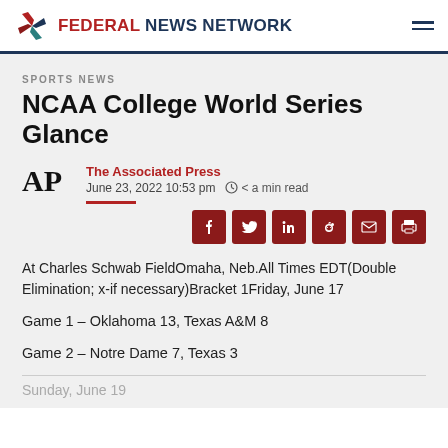FEDERAL NEWS NETWORK
SPORTS NEWS
NCAA College World Series Glance
The Associated Press
June 23, 2022 10:53 pm  < a min read
At Charles Schwab FieldOmaha, Neb.All Times EDT(Double Elimination; x-if necessary)Bracket 1Friday, June 17
Game 1 – Oklahoma 13, Texas A&M 8
Game 2 – Notre Dame 7, Texas 3
Sunday, June 19